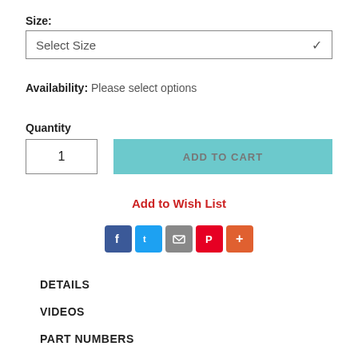Size:
Select Size
Availability: Please select options
Quantity
1
ADD TO CART
Add to Wish List
[Figure (infographic): Social sharing icons: Facebook (blue), Twitter (light blue), Email (gray), Pinterest (red), More/Plus (orange)]
DETAILS
VIDEOS
PART NUMBERS